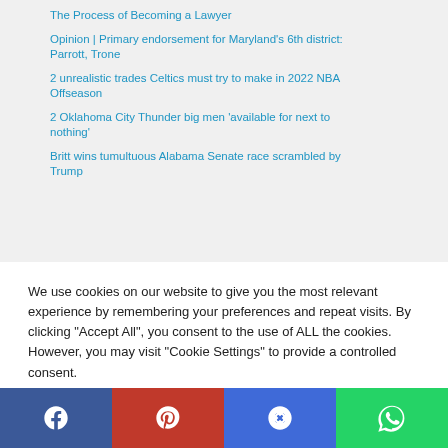The Process of Becoming a Lawyer
Opinion | Primary endorsement for Maryland's 6th district: Parrott, Trone
2 unrealistic trades Celtics must try to make in 2022 NBA Offseason
2 Oklahoma City Thunder big men 'available for next to nothing'
Britt wins tumultuous Alabama Senate race scrambled by Trump
We use cookies on our website to give you the most relevant experience by remembering your preferences and repeat visits. By clicking "Accept All", you consent to the use of ALL the cookies. However, you may visit "Cookie Settings" to provide a controlled consent.